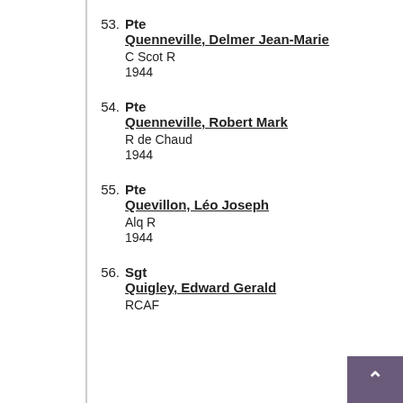53. Pte Quenneville, Delmer Jean-Marie C Scot R 1944
54. Pte Quenneville, Robert Mark R de Chaud 1944
55. Pte Quevillon, Léo Joseph Alq R 1944
56. Sgt Quigley, Edward Gerald RCAF